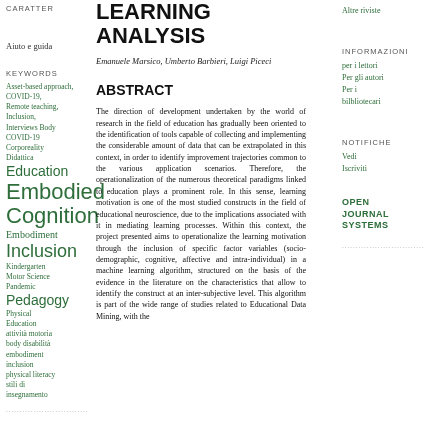CARATTER
LEARNING ANALYSIS
Altre riviste
Aiuto e guida
Emanuele Marsico, Umberto Barbieri, Luigi Piceci
INFORMAZIONI
per i lettori
Per gli autori
Per i bilbliotecari
ABSTRACT
KEYWORDS
Asset-based approach,
COVID-19,
Remote teaching,
Inclusion,
Interviews Body
COVID-19
Corporeality
Didattica
Education
Embodied Cognition
Embodiment
Inclusion
Kindergarten
Motor Science
Pandemic
Pedagogy
Physical Education
attività motoria
body disabilità
embodiment
inclusion
physical literacy
stili di insegnamento
NOTIFICHE
Vedi
Iscriviti
OPEN JOURNAL SYSTEMS
The direction of development undertaken by the world of research in the field of education has gradually been oriented to the identification of tools capable of collecting and implementing the considerable amount of data that can be extrapolated in this context, in order to identify improvement trajectories common to the various application scenarios. Therefore, the operationalization of the numerous theoretical paradigms linked to education plays a prominent role. In this sense, learning motivation is one of the most studied constructs in the field of educational neuroscience, due to the implications associated with it in mediating learning processes. Within this context, the project presented aims to operationalize the learning motivation through the inclusion of specific factor variables (socio-demographic, cognitive, affective and intra-individual) in a machine learning algorithm, structured on the basis of the evidence in the literature on the characteristics that allow to identify the construct at an inter-subjective level. This algorithm is part of the wide range of studies related to Educational Data Mining, with the